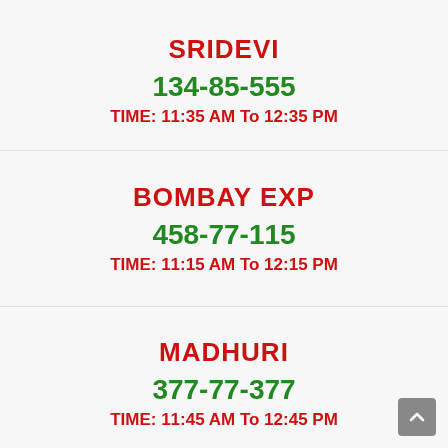SRIDEVI
134-85-555
TIME: 11:35 AM To 12:35 PM
BOMBAY EXP
458-77-115
TIME: 11:15 AM To 12:15 PM
MADHURI
377-77-377
TIME: 11:45 AM To 12:45 PM